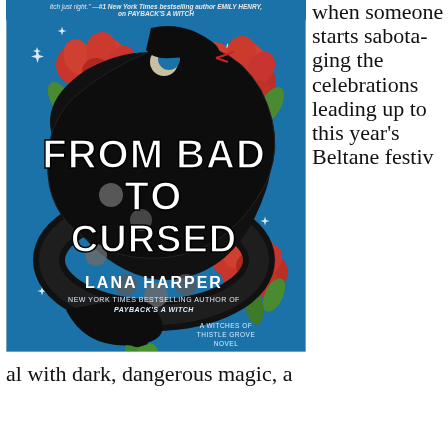[Figure (illustration): Book cover of 'From Bad to Cursed' by Lana Harper. A teal/blue background with a large black snake coiled around red flowers with green leaves. White crescent moon on the snake's head. Bold white text reads 'FROM BAD TO CURSED'. Author name 'LANA HARPER' in white. Subtitle 'NEW YORK TIMES BESTSELLING AUTHOR OF PAYBACK'S A WITCH'. Series text 'A WITCHES OF THISTLE GROVE NOVEL'. Stars/sparkles scattered throughout. Top blurb text in small font referencing Emily Henry and Payback's a Witch.]
when someone starts sabotaging the celebrations leading up to this year's Beltane festival with dark, dangerous magic, a